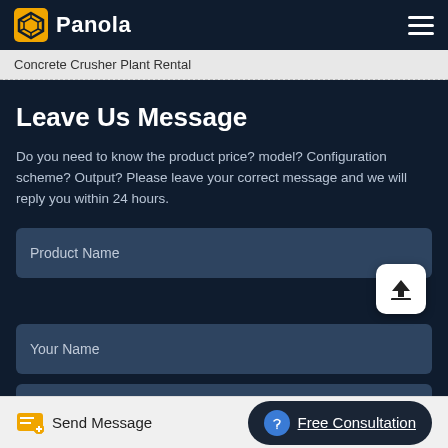Panola
Concrete Crusher Plant Rental
Leave Us Message
Do you need to know the product price? model? Configuration scheme? Output? Please leave your correct message and we will reply you within 24 hours.
Product Name
Your Name
Send Message
Free Consultation